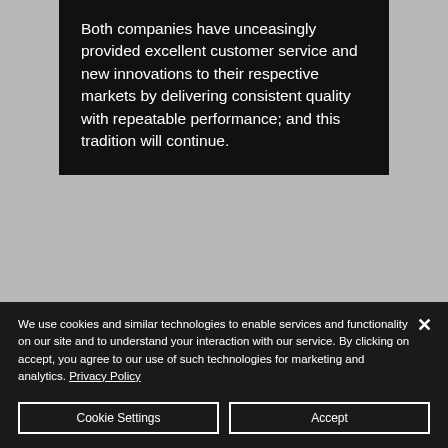Both companies have unceasingly provided excellent customer service and new innovations to their respective markets by delivering consistent quality with repeatable performance; and this tradition will continue.
Industry Services
We use cookies and similar technologies to enable services and functionality on our site and to understand your interaction with our service. By clicking on accept, you agree to our use of such technologies for marketing and analytics. Privacy Policy
Cookie Settings
Accept